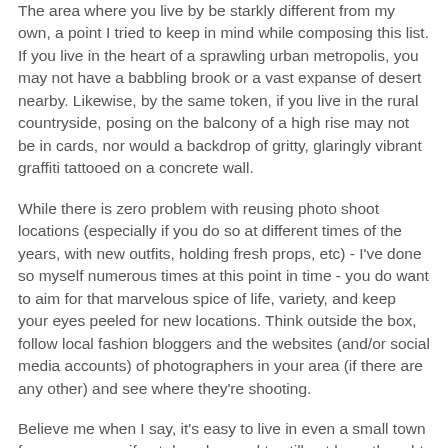The area where you live by be starkly different from my own, a point I tried to keep in mind while composing this list. If you live in the heart of a sprawling urban metropolis, you may not have a babbling brook or a vast expanse of desert nearby. Likewise, by the same token, if you live in the rural countryside, posing on the balcony of a high rise may not be in cards, nor would a backdrop of gritty, glaringly vibrant graffiti tattooed on a concrete wall.
While there is zero problem with reusing photo shoot locations (especially if you do so at different times of the years, with new outfits, holding fresh props, etc) - I've done so myself numerous times at this point in time - you do want to aim for that marvelous spice of life, variety, and keep your eyes peeled for new locations. Think outside the box, follow local fashion bloggers and the websites (and/or social media accounts) of photographers in your area (if there are any other) and see where they're shooting.
Believe me when I say, it's easy to live in even a small town for many years, if not decades, and to still not have thought of every potential spot to take photos. Sometimes a single walk from...